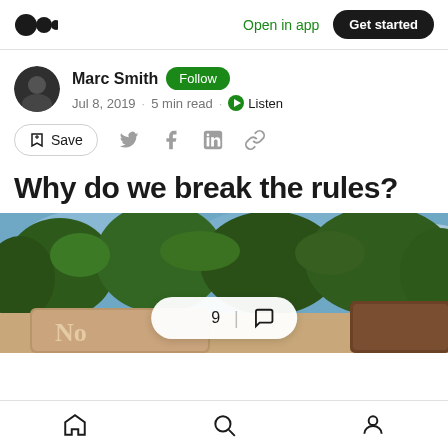Open in app  Get started
Marc Smith  Follow
Jul 8, 2019 · 5 min read · Listen
Save
Why do we break the rules?
[Figure (photo): Photo of a wooden park sign with 'No' visible, surrounded by trees and blue sky]
Home  Search  Profile